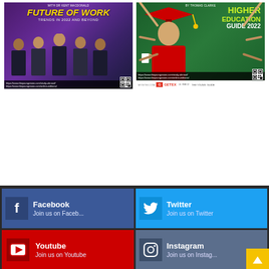[Figure (illustration): Magazine cover: Future of Work, Trends in 2022 and Beyond, with 5 businesspeople silhouettes on purple background with QR code and URLs]
[Figure (illustration): Magazine cover: Higher Education Guide 2022 with graduate in cap and gown on dark green background with QR code, URLs, and GETEX logo]
[Figure (infographic): Social media links section on dark background: Facebook (Join us on Faceb...), Twitter (Join us on Twitter), Youtube (Join us on Youtube), Instagram (Join us on Instag...), with gold scroll-to-top button]